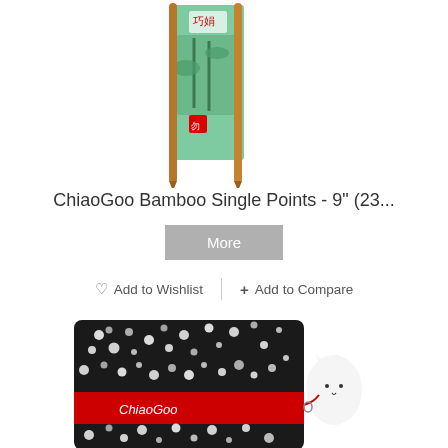[Figure (photo): ChiaoGoo bamboo single point knitting needles in green packaging, two long brown needles visible]
ChiaoGoo Bamboo Single Points - 9" (23...
More
♡ Add to Wishlist  |  + Add to Compare
[Figure (photo): ChiaoGoo knitting needle case/bag in black and white floral fabric pattern with red band and white cat charm]